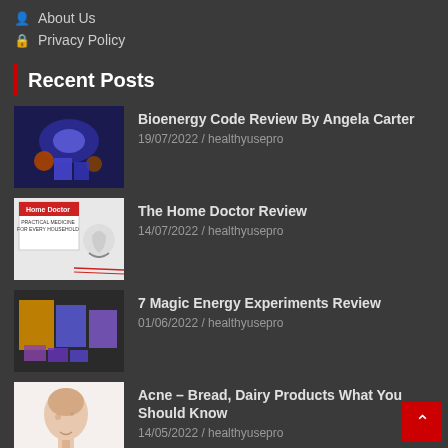About Us
Privacy Policy
Recent Posts
[Figure (photo): Thumbnail image for Bioenergy Code Review post showing digital products and galaxies]
Bioenergy Code Review By Angela Carter
19/07/2022 / healthyusepro
[Figure (photo): Thumbnail image for The Home Doctor Review showing book cover with stethoscope]
The Home Doctor Review
14/07/2022 / healthyusepro
[Figure (photo): Thumbnail image for 7 Magic Energy Experiments Review showing digital product bundle]
7 Magic Energy Experiments Review
01/06/2022 / healthyusepro
[Figure (photo): Thumbnail image for Acne article showing woman touching face]
Acne – Bread, Dairy Products What You Should Know
14/05/2022 / healthyusepro